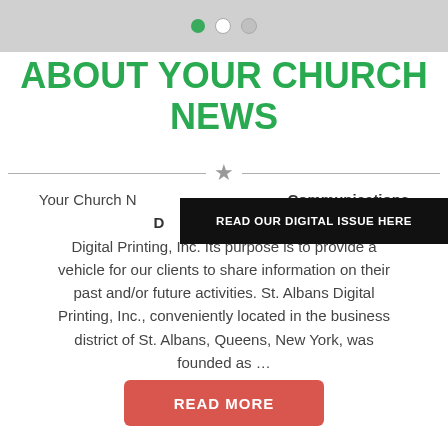[Figure (other): Top navigation bar with three dots: one green (active), one white, one light gray]
ABOUT YOUR CHURCH NEWS
[Figure (other): Horizontal divider line with a gray star icon in the center]
[Figure (other): Black banner overlay with white bold text: READ OUR DIGITAL ISSUE HERE]
Your Church N… Communications D… Digital Printing, Inc. Its purpose is to provide a vehicle for our clients to share information on their past and/or future activities. St. Albans Digital Printing, Inc., conveniently located in the business district of St. Albans, Queens, New York, was founded as …
READ MORE